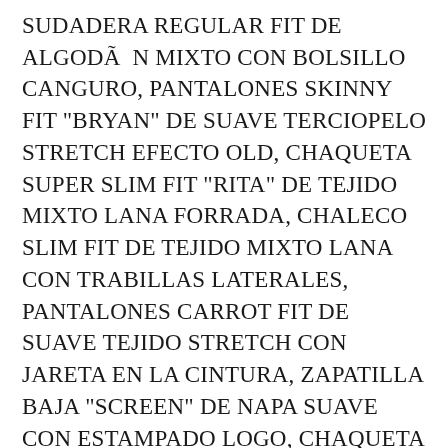SUDADERA REGULAR FIT DE ALGODÃ  N MIXTO CON BOLSILLO CANGURO, PANTALONES SKINNY FIT "BRYAN" DE SUAVE TERCIOPELO STRETCH EFECTO OLD, CHAQUETA SUPER SLIM FIT "RITA" DE TEJIDO MIXTO LANA FORRADA, CHALECO SLIM FIT DE TEJIDO MIXTO LANA CON TRABILLAS LATERALES, PANTALONES CARROT FIT DE SUAVE TEJIDO STRETCH CON JARETA EN LA CINTURA, ZAPATILLA BAJA "SCREEN" DE NAPA SUAVE CON ESTAMPADO LOGO, CHAQUETA NO CRUZADA SLIM FIT "BONNIE" DE TEJIDO STRETCH MIXTO LANA, JERSEY OVER FIT DE LANA SUAVE CON CANALÃ  , JOGGERS DE FELPA CON PLACA CON LOGO DE METAL,